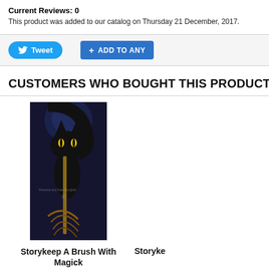Current Reviews: 0
This product was added to our catalog on Thursday 21 December, 2017.
[Figure (screenshot): Social sharing buttons: Tweet (Twitter) and + ADD TO ANY]
CUSTOMERS WHO BOUGHT THIS PRODUCT ALSO
[Figure (photo): A tall narrow bookmark-sized image showing a black cat with a broomstick against a dark night background]
Storykeep A Brush With Magick
Storyke